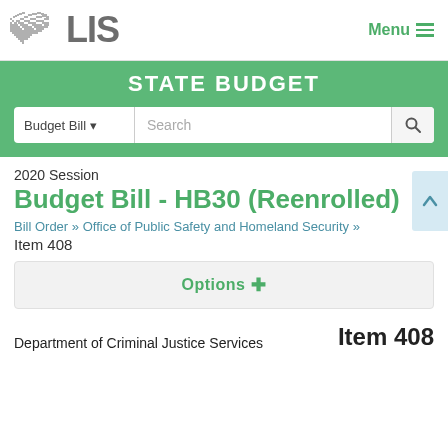LIS  Menu
STATE BUDGET
2020 Session
Budget Bill - HB30 (Reenrolled)
Bill Order » Office of Public Safety and Homeland Security »
Item 408
Options +
Department of Criminal Justice Services
Item 408